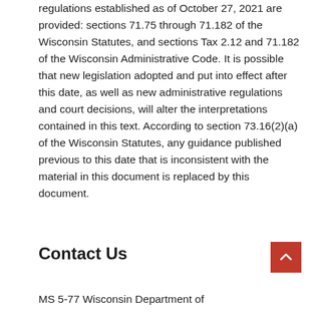regulations established as of October 27, 2021 are provided: sections 71.75 through 71.182 of the Wisconsin Statutes, and sections Tax 2.12 and 71.182 of the Wisconsin Administrative Code. It is possible that new legislation adopted and put into effect after this date, as well as new administrative regulations and court decisions, will alter the interpretations contained in this text. According to section 73.16(2)(a) of the Wisconsin Statutes, any guidance published previous to this date that is inconsistent with the material in this document is replaced by this document.
Contact Us
MS 5-77 Wisconsin Department of